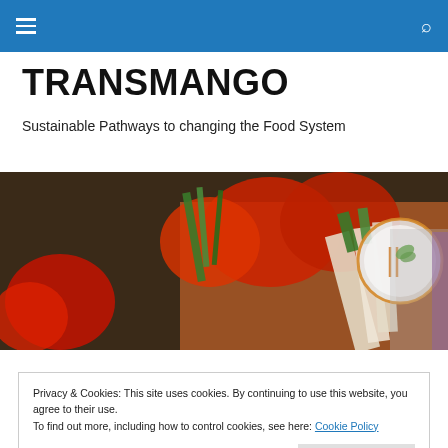TRANSMANGO navigation bar with hamburger menu and search icon
TRANSMANGO
Sustainable Pathways to changing the Food System
[Figure (photo): Hero image showing fresh vegetables including tomatoes, carrots, strawberries, parsley roots, and green herbs on a dark background, with a circular TRANSMANGO logo on the right side]
Privacy & Cookies: This site uses cookies. By continuing to use this website, you agree to their use.
To find out more, including how to control cookies, see here: Cookie Policy

[Close and accept]
on the front lines